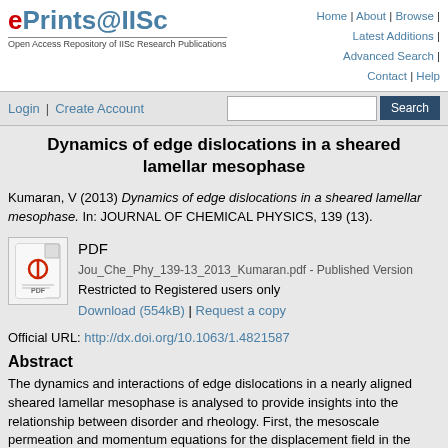ePrints@IISc — Open Access Repository of IISc Research Publications | Home | About | Browse | Latest Additions | Advanced Search | Contact | Help
Login | Create Account [Search bar]
Dynamics of edge dislocations in a sheared lamellar mesophase
Kumaran, V (2013) Dynamics of edge dislocations in a sheared lamellar mesophase. In: JOURNAL OF CHEMICAL PHYSICS, 139 (13).
PDF
Jou_Che_Phy_139-13_2013_Kumaran.pdf - Published Version
Restricted to Registered users only
Download (554kB) | Request a copy
Official URL: http://dx.doi.org/10.1063/1.4821587
Abstract
The dynamics and interactions of edge dislocations in a nearly aligned sheared lamellar mesophase is analysed to provide insights into the relationship between disorder and rheology. First, the mesoscale permeation and momentum equations for the displacement field in the presence of external forces are derived from the model H equations for the concentration and momentum field. The secondary flow generated due to the mean shear around an isolated defect is calculated, and the excess viscosity due to the presence